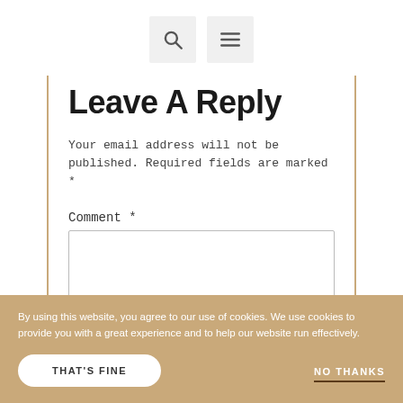[Search icon] [Menu icon]
Leave a Reply
Your email address will not be published. Required fields are marked *
Comment *
By using this website, you agree to our use of cookies. We use cookies to provide you with a great experience and to help our website run effectively.
THAT'S FINE
NO THANKS